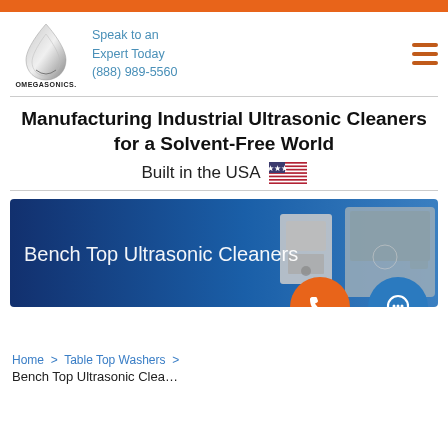[Figure (logo): OmegaSonics logo with metallic droplet shape and company name]
Speak to an Expert Today
(888) 989-5560
Manufacturing Industrial Ultrasonic Cleaners for a Solvent-Free World
Built in the USA 🇺🇸
[Figure (photo): Banner image showing bench top ultrasonic cleaners on a blue gradient background with white text 'Bench Top Ultrasonic Cleaners']
Home > Table Top Washers >
Bench Top Ultrasonic Clea...